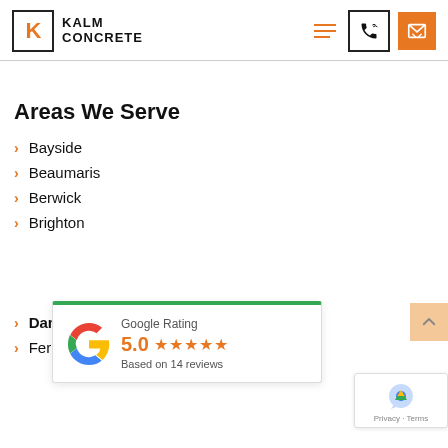KALM CONCRETE
Areas We Serve
Bayside
Beaumaris
Berwick
Brighton
[Figure (infographic): Google Rating card showing 5.0 stars based on 14 reviews, with Google G logo and green top border]
Dandenong
Ferntree Gully